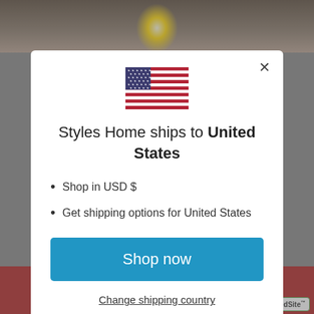[Figure (screenshot): Website modal dialog for country/shipping selection on Styles Home e-commerce site, showing US flag, shipping info, and Shop now button]
Styles Home ships to United States
Shop in USD $
Get shipping options for United States
Shop now
Change shipping country
ADD TO CART